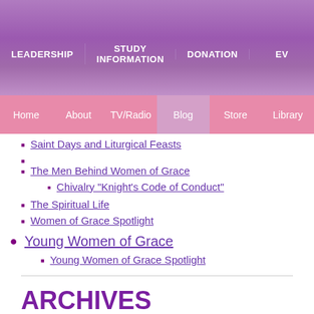LEADERSHIP | STUDY INFORMATION | DONATION | EV...
Home | About | TV/Radio | Blog | Store | Library
Saint Days and Liturgical Feasts
The Men Behind Women of Grace
Chivalry "Knight's Code of Conduct"
The Spiritual Life
Women of Grace Spotlight
Young Women of Grace
Young Women of Grace Spotlight
ARCHIVES
2022  2021
2019  2018
2016  2017